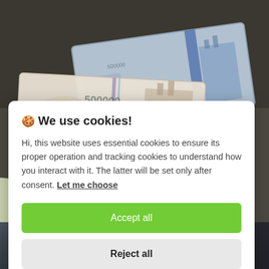[Figure (photo): Photograph of Iranian banknotes (500000 rial notes) spread on a dark surface, with blue and white colors visible on the currency]
🍪 We use cookies!
Hi, this website uses essential cookies to ensure its proper operation and tracking cookies to understand how you interact with it. The latter will be set only after consent. Let me choose
Accept all
Reject all